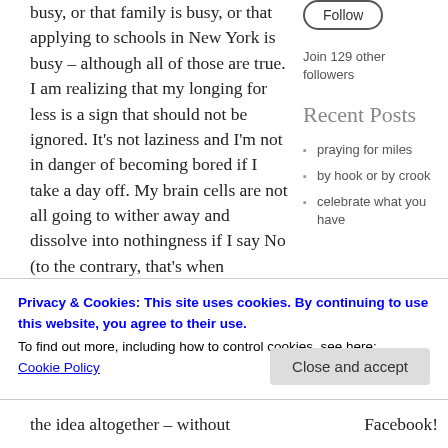busy, or that family is busy, or that applying to schools in New York is busy – although all of those are true. I am realizing that my longing for less is a sign that should not be ignored. It's not laziness and I'm not in danger of becoming bored if I take a day off. My brain cells are not all going to wither away and dissolve into nothingness if I say No (to the contrary, that's when
Follow
Join 129 other followers
Recent Posts
praying for miles
by hook or by crook
celebrate what you have
Privacy & Cookies: This site uses cookies. By continuing to use this website, you agree to their use.
To find out more, including how to control cookies, see here:
Cookie Policy
Close and accept
the idea altogether – without
Facebook!